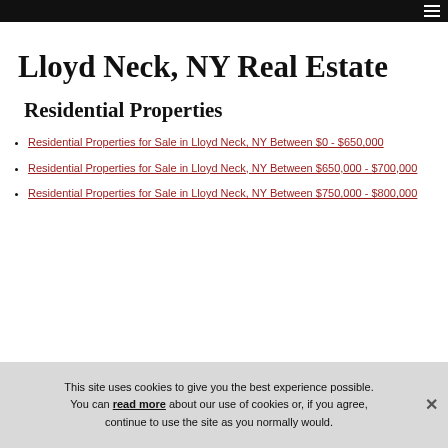Lloyd Neck, NY Real Estate
Residential Properties
Residential Properties for Sale in Lloyd Neck, NY Between $0 - $650,000
Residential Properties for Sale in Lloyd Neck, NY Between $650,000 - $700,000
Residential Properties for Sale in Lloyd Neck, NY Between $750,000 - $800,000
This site uses cookies to give you the best experience possible. You can read more about our use of cookies or, if you agree, continue to use the site as you normally would.